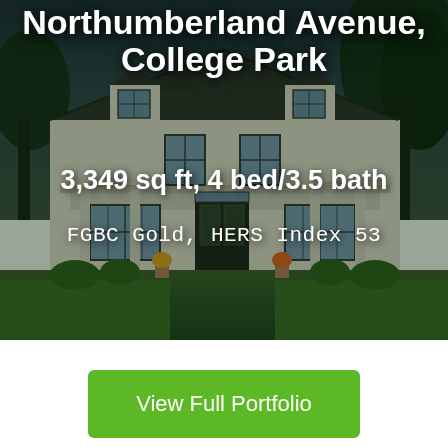[Figure (photo): Photo of a large white two-story suburban house with covered front porch, black-framed windows, red brick walkway, potted flowers, lush green landscaping, and evening blue-hour sky. Overlaid with dark green tint.]
Northumberland Avenue, College Park
3,349 sq ft, 4 bed/3.5 bath
FGBC Gold, HERS Index 53
View Full Portfolio